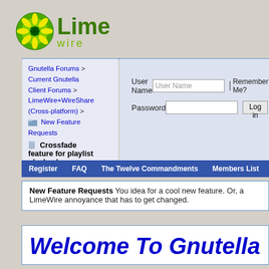[Figure (logo): LimeWire logo with green circle/flower icon and LimeWire text]
Gnutella Forums > Current Gnutella Client Forums > LimeWire+WireShare (Cross-platform) > New Feature Requests > Crossfade feature for playlist playback
User Name [input] Remember Me? Password [input] Log in
Register  FAQ  The Twelve Commandments  Members List  Calendar  Ar...
New Feature Requests You idea for a cool new feature. Or, a LimeWire annoyance that has to get changed.
Welcome To Gnutella